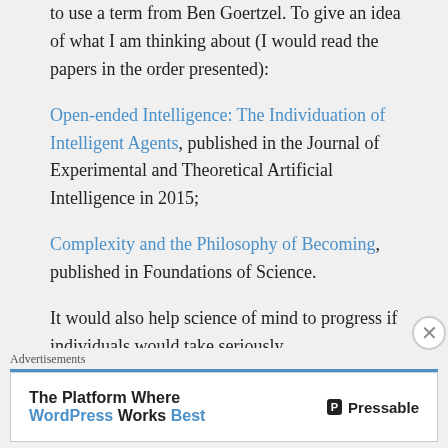to use a term from Ben Goertzel. To give an idea of what I am thinking about (I would read the papers in the order presented):
Open-ended Intelligence: The Individuation of Intelligent Agents, published in the Journal of Experimental and Theoretical Artificial Intelligence in 2015;
Complexity and the Philosophy of Becoming, published in Foundations of Science.
It would also help science of mind to progress if individuals would take seriously
Advertisements
The Platform Where WordPress Works Best — Pressable